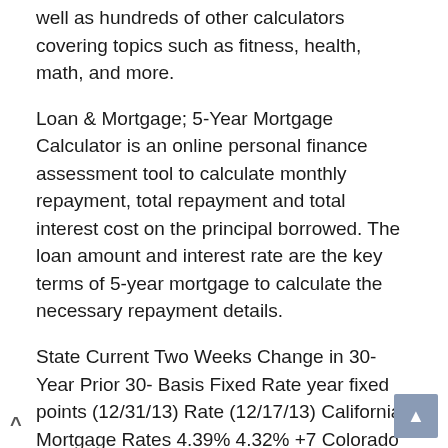well as hundreds of other calculators covering topics such as fitness, health, math, and more.
Loan & Mortgage; 5-Year Mortgage Calculator is an online personal finance assessment tool to calculate monthly repayment, total repayment and total interest cost on the principal borrowed. The loan amount and interest rate are the key terms of 5-year mortgage to calculate the necessary repayment details.
State Current Two Weeks Change in 30-Year Prior 30- Basis Fixed Rate year fixed points (12/31/13) Rate (12/17/13) California Mortgage Rates 4.39% 4.32% +7 Colorado Mortgage Rates 4.42% 4.35% +7.